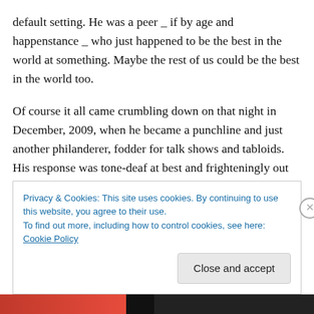default setting. He was a peer _ if by age and happenstance _ who just happened to be the best in the world at something. Maybe the rest of us could be the best in the world too.
Of course it all came crumbling down on that night in December, 2009, when he became a punchline and just another philanderer, fodder for talk shows and tabloids. His response was tone-deaf at best and frighteningly out of touch at worst. The image he so carefully cultivated came crashing down around him. He was mortal, after all.
Privacy & Cookies: This site uses cookies. By continuing to use this website, you agree to their use.
To find out more, including how to control cookies, see here: Cookie Policy